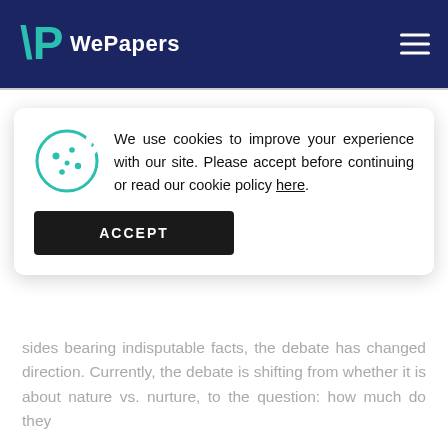WePapers
Or Does Each Contribute To Personality And Behavior
Abstract
The ideological war between the nativists and the...
We use cookies to improve your experience with our site. Please accept before continuing or read our cookie policy here.
sides bearing indisputable facts, the debate has changed direction. Currently, the debate is shifting from whether it is about nature vs. nurture, to the question: how much do they